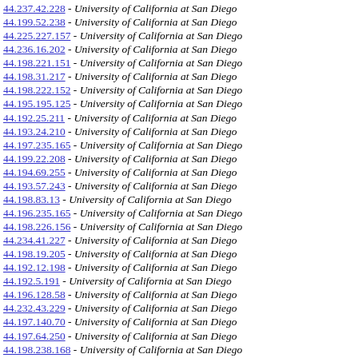44.237.42.228 - University of California at San Diego
44.199.52.238 - University of California at San Diego
44.225.227.157 - University of California at San Diego
44.236.16.202 - University of California at San Diego
44.198.221.151 - University of California at San Diego
44.198.31.217 - University of California at San Diego
44.198.222.152 - University of California at San Diego
44.195.195.125 - University of California at San Diego
44.192.25.211 - University of California at San Diego
44.193.24.210 - University of California at San Diego
44.197.235.165 - University of California at San Diego
44.199.22.208 - University of California at San Diego
44.194.69.255 - University of California at San Diego
44.193.57.243 - University of California at San Diego
44.198.83.13 - University of California at San Diego
44.196.235.165 - University of California at San Diego
44.198.226.156 - University of California at San Diego
44.234.41.227 - University of California at San Diego
44.198.19.205 - University of California at San Diego
44.192.12.198 - University of California at San Diego
44.192.5.191 - University of California at San Diego
44.196.128.58 - University of California at San Diego
44.232.43.229 - University of California at San Diego
44.197.140.70 - University of California at San Diego
44.197.64.250 - University of California at San Diego
44.198.238.168 - University of California at San Diego
44.198.142.72 - University of California at San Diego
44.198.25.211 - University of California at San Diego
44.195.88.18 - University of California at San Diego
44.235.137.67 - University of California at San Diego